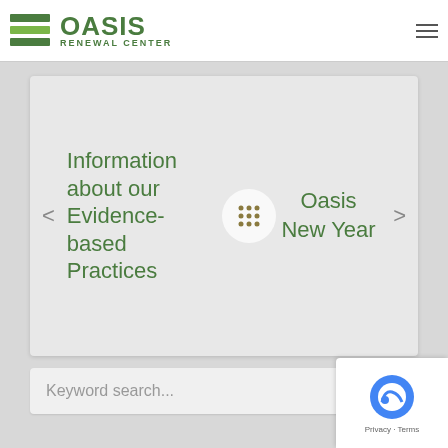OASIS RENEWAL CENTER
[Figure (screenshot): Oasis Renewal Center logo with green horizontal bars and green text]
Information about our Evidence-based Practices
Oasis New Year
Keyword search...
[Figure (other): reCAPTCHA badge with Privacy and Terms links]